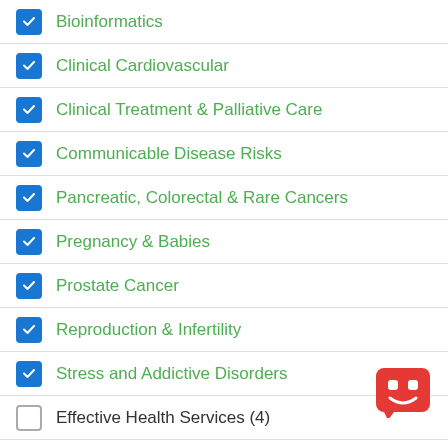Bioinformatics
Clinical Cardiovascular
Clinical Treatment & Palliative Care
Communicable Disease Risks
Pancreatic, Colorectal & Rare Cancers
Pregnancy & Babies
Prostate Cancer
Reproduction & Infertility
Stress and Addictive Disorders
Effective Health Services (4)
[Figure (illustration): Red chatbot/robot icon with smiley face in bottom right corner]